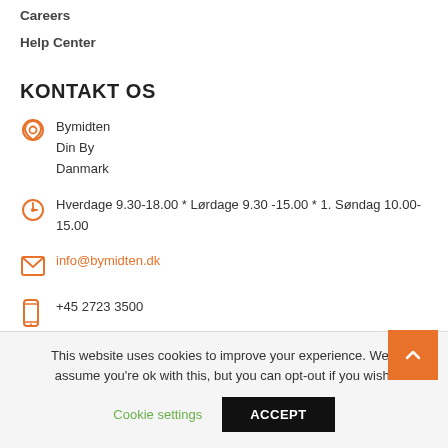Careers
Help Center
KONTAKT OS
Bymidten
Din By
Danmark
Hverdage 9.30-18.00 * Lørdage 9.30 -15.00 * 1. Søndag 10.00-15.00
info@bymidten.dk
+45 2723 3500
This website uses cookies to improve your experience. We'll assume you're ok with this, but you can opt-out if you wish.
Cookie settings
ACCEPT